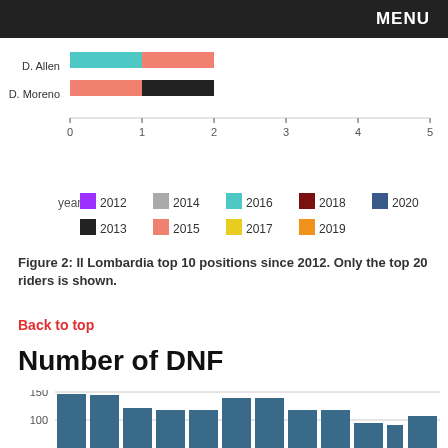MENU
[Figure (stacked-bar-chart): Partial stacked bar chart showing Il Lombardia top 10 positions by year for riders including D. Moreno. Bars are colored by year (2012-2020). X-axis from 0 to 5.]
[Figure (other): Legend showing year colors: 2012 purple, 2013 black, 2014 gray, 2015 salmon/red, 2016 teal, 2017 yellow, 2018 dark red, 2019 orange, 2020 dark blue]
Figure 2: Il Lombardia top 10 positions since 2012. Only the top 20 riders is shown.
Back to top
Number of DNF
[Figure (bar-chart): Bar chart showing number of DNFs. Y-axis shows 100 and 150 gridlines. Bars approximately: ~145, ~140, ~105, ~100, ~100, ~135, ~135, ~100, ~100, ~65, ~60, ~85]